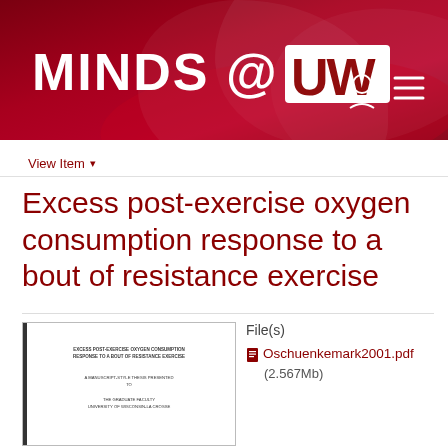[Figure (logo): MINDS @ UW logo on dark red banner with navigation icons]
View Item ▾
Excess post-exercise oxygen consumption response to a bout of resistance exercise
[Figure (other): Thumbnail preview of thesis document cover page]
File(s)
Oschuenkemark2001.pdf (2.567Mb)